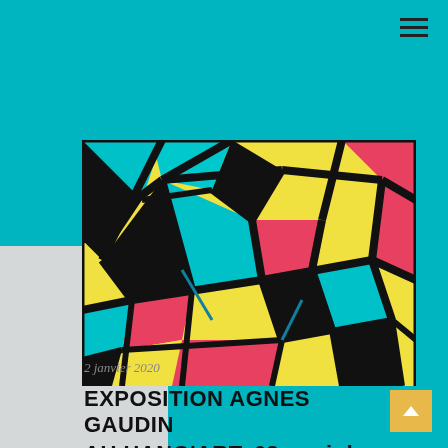[Figure (illustration): Abstract colorful painting with bold black outlines forming geometric angular shapes filled with yellow, red/pink, cyan/teal, and white colors — stained glass style artwork by Agnes Gaudin]
2 janvier 2020
EXPOSITION AGNES GAUDIN AU HANG'ART, 63 quai de